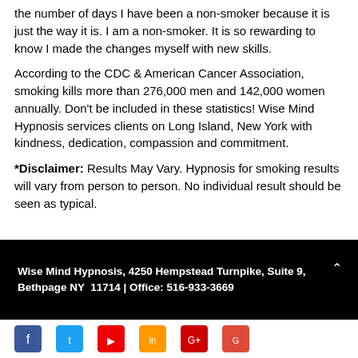the number of days I have been a non-smoker because it is just the way it is. I am a non-smoker. It is so rewarding to know I made the changes myself with new skills.
According to the CDC & American Cancer Association, smoking kills more than 276,000 men and 142,000 women annually. Don't be included in these statistics! Wise Mind Hypnosis services clients on Long Island, New York with kindness, dedication, compassion and commitment.
*Disclaimer: Results May Vary. Hypnosis for smoking results will vary from person to person. No individual result should be seen as typical.
Wise Mind Hypnosis, 4250 Hempstead Turnpike, Suite 9, Bethpage NY  11714 | Office: 516-933-3669